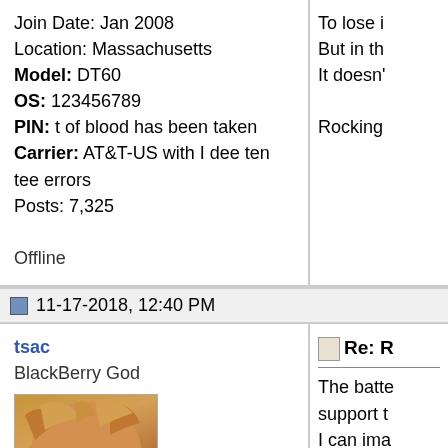Join Date: Jan 2008
Location: Massachusetts
Model: DT60
OS: 123456789
PIN: t of blood has been taken
Carrier: AT&T-US with I dee ten tee errors
Posts: 7,325

Offline
To lose i
But in th
It doesn'

Rocking
11-17-2018, 12:40 PM
tsac
BlackBerry God
[Figure (photo): Photo of a grumpy-looking fluffy orange/ginger cat with windswept fur]
Join Date: Mar 2005
Location: Others run out
Re: [Reply title truncated]

The batte
support t
I can ima

Z10 on b
Z10 on b